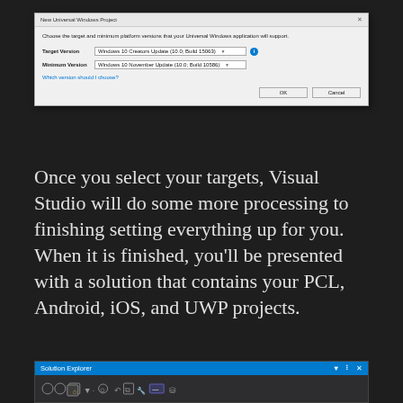[Figure (screenshot): New Universal Windows Project dialog box showing Target Version set to Windows 10 Creators Update (10.0; Build 15063) and Minimum Version set to Windows 10 November Update (10.0; Build 10586), with OK and Cancel buttons.]
Once you select your targets, Visual Studio will do some more processing to finishing setting everything up for you. When it is finished, you’ll be presented with a solution that contains your PCL, Android, iOS, and UWP projects.
[Figure (screenshot): Visual Studio Solution Explorer toolbar showing the title bar with pin and close icons, and a row of toolbar icon buttons.]